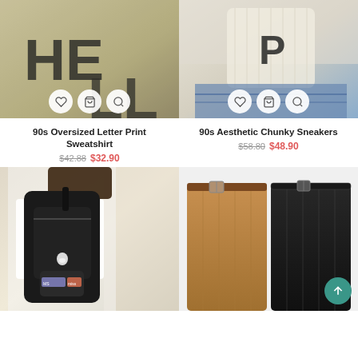[Figure (photo): Close-up photo of a beige/tan oversized sweatshirt with large black letter print, lying on a surface]
[Figure (photo): Photo of cream/white ribbed knit top with black letter print, worn with blue jeans, showing arm details]
90s Oversized Letter Print Sweatshirt
$42.88 $32.90
90s Aesthetic Chunky Sneakers
$58.80 $48.90
[Figure (photo): Photo of a person wearing a white t-shirt and carrying a black backpack with cute bunny pin and 'missing' patch label]
[Figure (photo): Photo of brown and black corduroy wide-leg pants displayed side by side with brown belts, on a white surface]